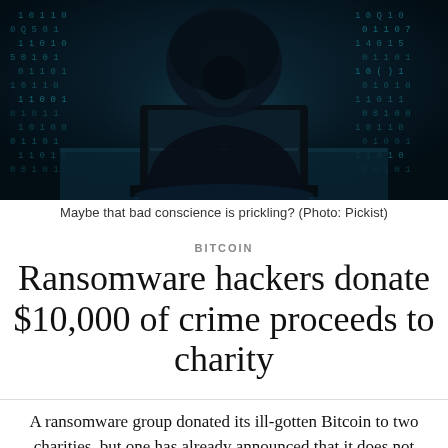[Figure (photo): Dark atmospheric photo of a hooded hacker figure sitting at a laptop in a dark room, with glowing binary code digits in the background]
Maybe that bad conscience is prickling? (Photo: Pickist)
BITCOIN
Ransomware hackers donate $10,000 of crime proceeds to charity
A ransomware group donated its ill-gotten Bitcoin to two charities, but one has already announced that it does not